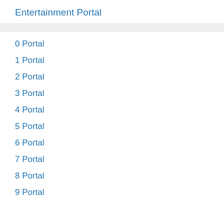Entertainment Portal
0 Portal
1 Portal
2 Portal
3 Portal
4 Portal
5 Portal
6 Portal
7 Portal
8 Portal
9 Portal